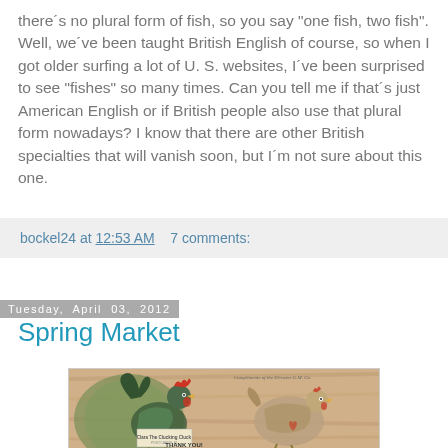there´s no plural form of fish, so you say "one fish, two fish". Well, we´ve been taught British English of course, so when I got older surfing a lot of U. S. websites, I´ve been surprised to see "fishes" so many times. Can you tell me if that´s just American English or if British people also use that plural form nowadays? I know that there are other British specialties that will vanish soon, but I´m not sure about this one.
bockel24 at 12:53 AM    7 comments:
Tuesday, April 03, 2012
Spring Market
[Figure (photo): Vintage illustration of roosters/chickens with text 'Clara The Clucking Cluck POSTCARDS' and 'THANK YOU!' at the bottom, colorful retro style postcard image]